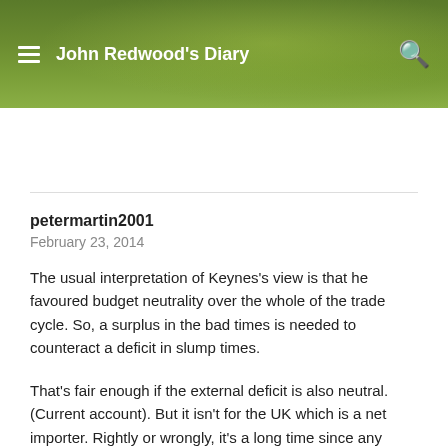John Redwood's Diary
petermartin2001
February 23, 2014
The usual interpretation of Keynes's view is that he favoured budget neutrality over the whole of the trade cycle. So, a surplus in the bad times is needed to counteract a deficit in slump times.
That's fair enough if the external deficit is also neutral. (Current account). But it isn't for the UK which is a net importer. Rightly or wrongly, it's a long time since any Governments has placed any real emphasis on the trade gap.